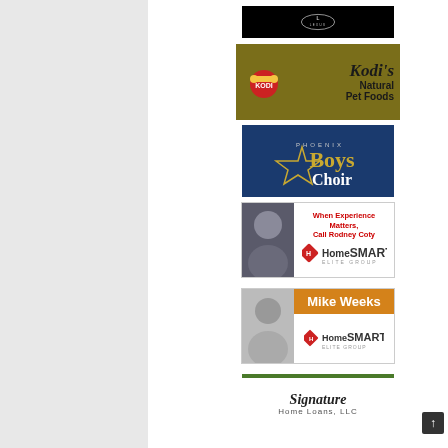[Figure (logo): Lexus dealership advertisement with Lexus logo on black background]
[Figure (logo): Kodi's Natural Pet Foods advertisement with olive/gold background, brand logo and text]
[Figure (logo): Phoenix Boys Choir advertisement with navy blue background and gold star logo]
[Figure (logo): HomeSmart Elite Group - Rodney Coty real estate agent advertisement with tagline 'When Experience Matters, Call Rodney Coty']
[Figure (logo): HomeSmart - Mike Weeks real estate advertisement with orange header and agent photo]
[Figure (logo): Signature Home Loans, LLC advertisement with green accent bar]